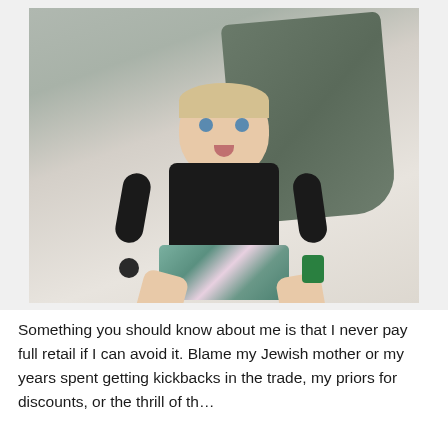[Figure (photo): A young toddler boy with short blonde hair and blue eyes, wearing a black t-shirt and colorful dinosaur-print shorts, sitting on a light couch with dark gray pillows behind him. He holds small toys in each hand and looks toward the camera with his mouth slightly open.]
Something you should know about me is that I never pay full retail if I can avoid it. Blame my Jewish mother or my years spent getting kickbacks in the trade, my priors for discounts, or the thrill of th...